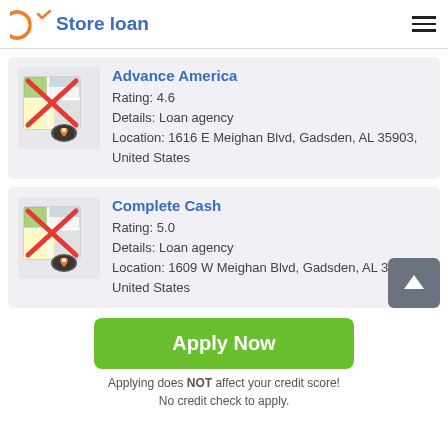Store loan
Advance America
Rating: 4.6
Details: Loan agency
Location: 1616 E Meighan Blvd, Gadsden, AL 35903, United States
[Figure (illustration): Map icon with red X overlay and a location pin badge]
Complete Cash
Rating: 5.0
Details: Loan agency
Location: 1609 W Meighan Blvd, Gadsden, AL 35901, United States
[Figure (illustration): Map icon with red X overlay and a location pin badge]
Apply Now
Applying does NOT affect your credit score!
No credit check to apply.